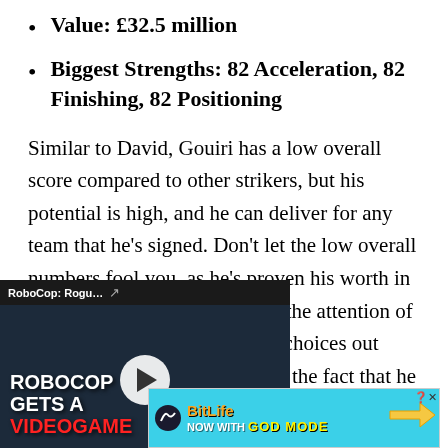Value: £32.5 million
Biggest Strengths: 82 Acceleration, 82 Finishing, 82 Positioning
Similar to David, Gouiri has a low overall score compared to other strikers, but his potential is high, and he can deliver for any team that he's signed. Don't let the low overall numbers fool you, as he's proven his worth in Nice over the [years, attracting] the attention of the [top clubs. There] are better choices [out there, but th]at doesn't diminish the fact that he can be a valuable piece in your rotati[on.]
[Figure (screenshot): Video player overlay showing RoboCop: Rogu... with play button, ROBOCOP GETS A VIDEOGAME text]
[Figure (screenshot): BitLife advertisement with GOD MODE text on blue background]